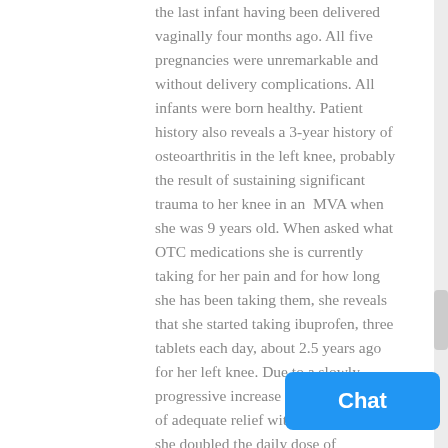the last infant having been delivered vaginally four months ago. All five pregnancies were unremarkable and without delivery complications. All infants were born healthy. Patient history also reveals a 3-year history of osteoarthritis in the left knee, probably the result of sustaining significant trauma to her knee in an MVA when she was 9 years old. When asked what OTC medications she is currently taking for her pain and for how long she has been taking them, she reveals that she started taking ibuprofen, three tablets each day, about 2.5 years ago for her left knee. Due to a slowly progressive increase in pain and a loss of adequate relief with three tablets, she doubled the daily dose of ibuprofen. Upon the recommendation from her nurse practitioner and because long-term ibuprofen use can cause peptic ulcers, she began taking OTC omeprazole on a regular basis to prevent gastrointestinal bleeding